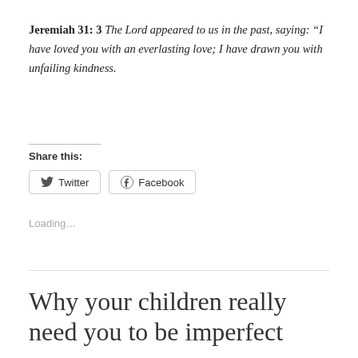Jeremiah 31: 3 The Lord appeared to us in the past, saying: “I have loved you with an everlasting love; I have drawn you with unfailing kindness.
Share this:
Twitter
Facebook
Loading…
Why your children really need you to be imperfect